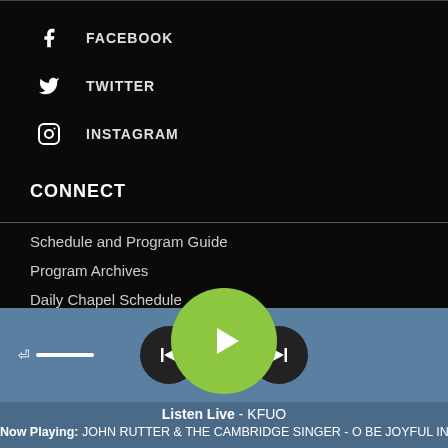FACEBOOK
TWITTER
INSTAGRAM
CONNECT
Schedule and Program Guide
Program Archives
Daily Chapel Schedule
Live & On-Demand List...
[Figure (screenshot): Media player controls: volume slider on left, back/forward buttons flanking a large green play button in center]
Listen Live - KFUO
Now Playing: JOHN RUTTER & THE CAMBRIDGE SINGER - O BE JOYFUL IN TH